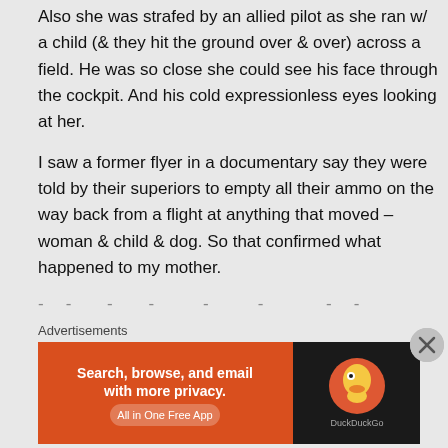Also she was strafed by an allied pilot as she ran w/ a child (& they hit the ground over & over) across a field. He was so close she could see his face through the cockpit. And his cold expressionless eyes looking at her.
I saw a former flyer in a documentary say they were told by their superiors to empty all their ammo on the way back from a flight at anything that moved – woman & child & dog. So that confirmed what happened to my mother.
- - - - - - - - - - - - ...
Advertisements
[Figure (other): DuckDuckGo advertisement banner: orange left section with text 'Search, browse, and email with more privacy. All in One Free App' and dark right section with DuckDuckGo logo]